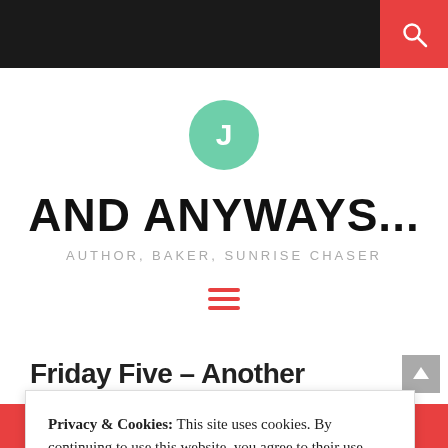AND ANYWAYS... — AUTHOR, BAKER, SUNRISE CHASER
AND ANYWAYS...
AUTHOR, BAKER, SUNRISE CHASER
Friday Five – Another Melbourne Five
Privacy & Cookies: This site uses cookies. By continuing to use this website, you agree to their use. To find out more, including how to control cookies, see here: Cookie Policy
CLOSE AND ACCEPT